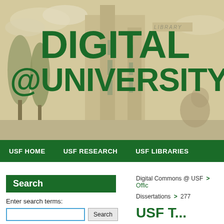[Figure (photo): USF Library building with sepia-toned background. Large bold green text reads DIGITAL @UNIVERSITY overlaid on the image.]
USF HOME   USF RESEARCH   USF LIBRARIES
Search
Enter search terms:
Digital Commons @ USF > Offi... Dissertations > 277
USF T...